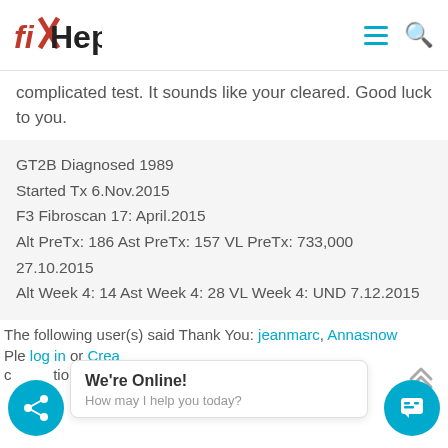fiXHepC
complicated test. It sounds like your cleared. Good luck to you.
GT2B Diagnosed 1989
Started Tx 6.Nov.2015
F3 Fibroscan 17: April.2015
Alt PreTx: 186 Ast PreTx: 157 VL PreTx: 733,000 27.10.2015
Alt Week 4: 14 Ast Week 4: 28 VL Week 4: UND 7.12.2015
The following user(s) said Thank You: jeanmarc, Annasnow
Please log in or Create an account to join the conversation.
[Figure (other): Live chat widget popup: 'We're Online! How may I help you today?' with share button on left and chat button on right]